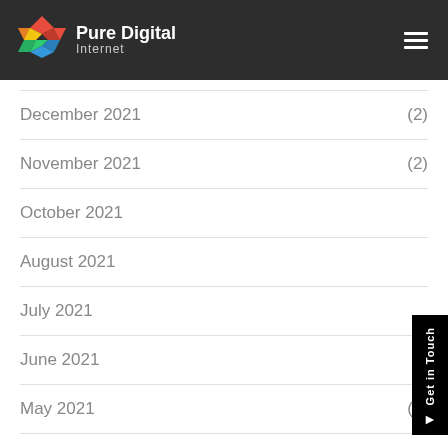Pure Digital Internet
December 2021 (2)
November 2021 (2)
October 2021 (2)
August 2021
July 2021
June 2021
May 2021 (1)
April 2021 (2)